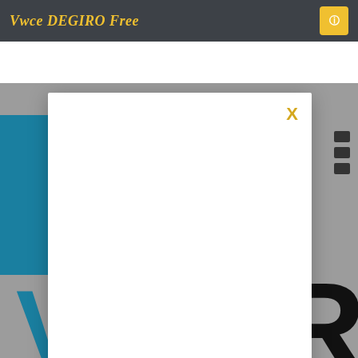Vwce DEGIRO Free
[Figure (screenshot): A modal/dialog overlay on top of a website background. The background shows a gray page with teal/blue band and partial large letters 'V' and 'R', and a dark navigation bar at top with italic yellow text 'Vwce DEGIRO Free' and a yellow icon button. The white modal box has a yellow 'X' close button in the top-right corner and a gold bar at the bottom.]